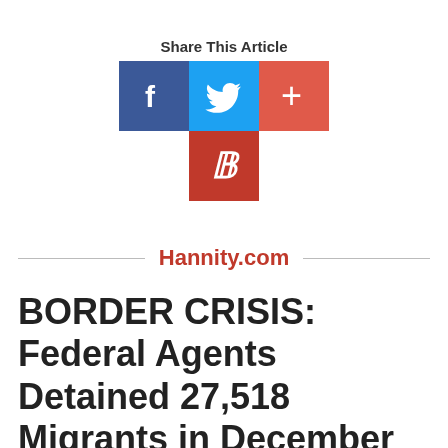Share This Article
[Figure (infographic): Social share buttons: Facebook (dark blue), Twitter (light blue), Plus/Add (red-orange), and Parler (red) icons arranged in two rows]
Hannity.com
BORDER CRISIS: Federal Agents Detained 27,518 Migrants in December Alone